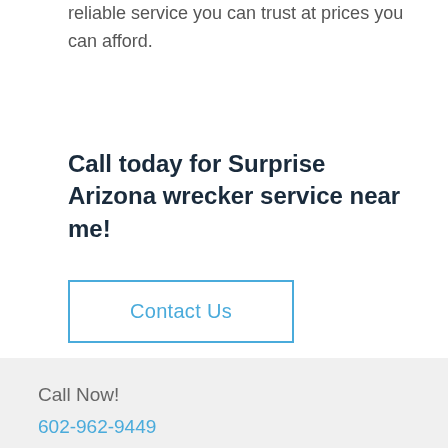reliable service you can trust at prices you can afford.
Call today for Surprise Arizona wrecker service near me!
Contact Us
Call Now!
602-962-9449